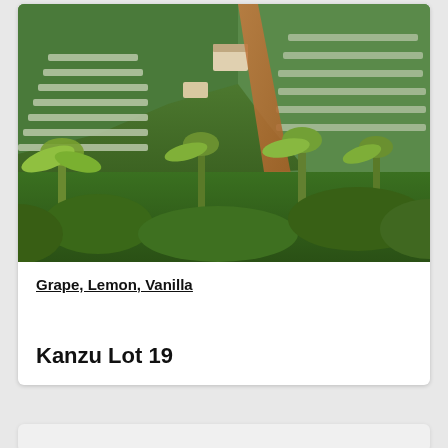[Figure (photo): Aerial view of a terraced coffee or tea farm on a hillside, with lush green vegetation, banana trees, red dirt paths, and rows of crops under shade structures.]
Grape, Lemon, Vanilla
Kanzu Lot 19